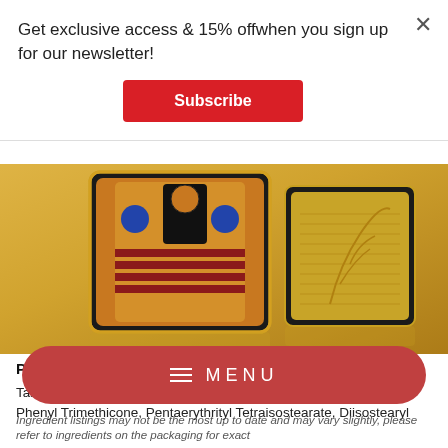Get exclusive access & 15% offwhen you sign up for our newsletter!
Subscribe
[Figure (photo): Product photo of an ornate cosmetics palette with Egyptian-style decorative artwork on gold background, two compact cases visible]
Production ingredients
Talc, Nylon-12, Mica, Silica, Boron Nitride, Kaolin, Zinc Stearate, Phenyl Trimethicone, Pentaerythrityl Tetraisostearate, Diisostearyl
Ingredient listings may not be the most up to date and may vary slightly, please refer to ingredients on the packaging for exact